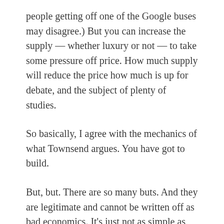people getting off one of the Google buses may disagree.) But you can increase the supply — whether luxury or not — to take some pressure off price. How much supply will reduce the price how much is up for debate, and the subject of plenty of studies.
So basically, I agree with the mechanics of what Townsend argues. You have got to build.
But, but. There are so many buts. And they are legitimate and cannot be written off as bad economics. It's just not as simple as building more housing, of any kind. Townsend cites New York City as an inspiration. But that city is a great example of how increasing supply sometimes does not push down prices, because it changes the nature of the demand. As CityLab reported last year: